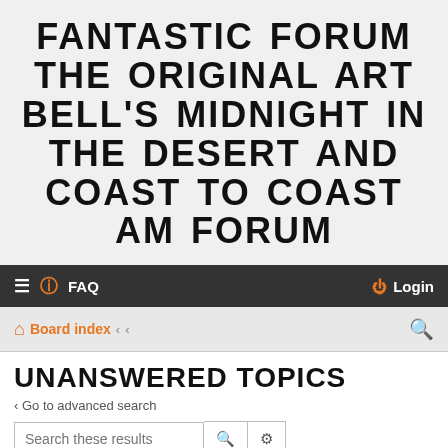FANTASTIC FORUM THE ORIGINAL ART BELL'S MIDNIGHT IN THE DESERT AND COAST TO COAST AM FORUM
≡  FAQ    Login
Board index < <    🔍
UNANSWERED TOPICS
< Go to advanced search
Search these results
Search found more than 1000 matches  1 2 3 4 5 … 40 >
| Topics |
| --- |
Some Good News,Not For long…………………
Last post by Doka « 08-25-2022 12:54 PM
Posted In Food